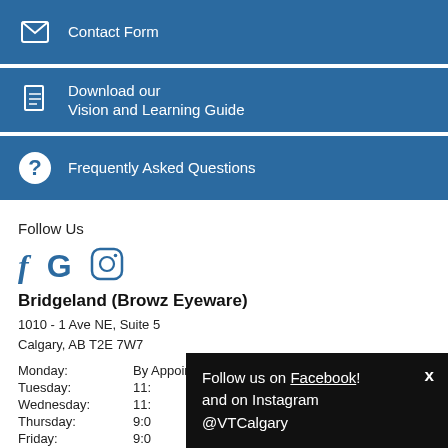Contact Form
Download our Vision and Learning Guide
Frequently Asked Questions
Follow Us
[Figure (illustration): Social media icons: Facebook (f), Google (G), Instagram (camera icon)]
Bridgeland (Browz Eyeware)
1010 - 1 Ave NE, Suite 5
Calgary, AB T2E 7W7
Monday: By Appointment Only
Tuesday: 11:
Wednesday: 11:
Thursday: 9:0
Friday: 9:0
Follow us on Facebook! and on Instagram @VTCalgary